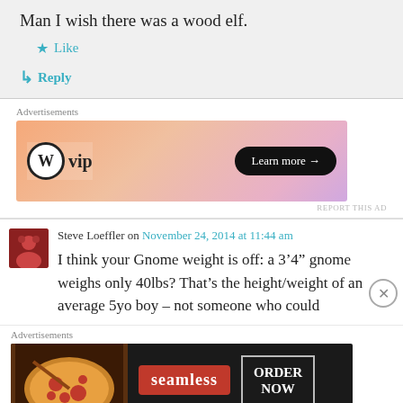Man I wish there was a wood elf.
Like
Reply
Advertisements
[Figure (other): WordPress VIP advertisement banner with gradient orange-pink background, WP logo and 'vip' text, and 'Learn more' button]
REPORT THIS AD
Steve Loeffler on November 24, 2014 at 11:44 am
I think your Gnome weight is off: a 3‘4’” gnome weighs only 40lbs? That’s the height/weight of an average 5yo boy – not someone who could
Advertisements
[Figure (other): Seamless food delivery advertisement with pizza image, seamless logo and ORDER NOW button on dark background]